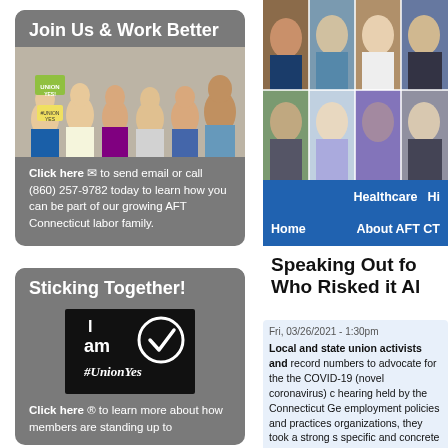Join Us & Work Better
[Figure (photo): Group photo of people holding Union Yes signs]
Click here ✉ to send email or call (860) 257-9782 today to learn how you can be part of our growing AFT Connecticut labor family.
[Figure (photo): Collage of six portraits of educators/union members]
Healthcare   Hi
Home   About AFT CT
Speaking Out fo… Who Risked it Al…
Sticking Together!
[Figure (logo): I am #UnionYes logo on black background with checkmark]
Click here Ⓐ to learn more about how members are standing up to
Fri, 03/26/2021 - 1:30pm
Local and state union activists and record numbers to advocate for the the COVID-19 (novel coronavirus) c hearing held by the Connecticut Ge employment policies and practices organizations, they took a strong s specific and concrete tie for the